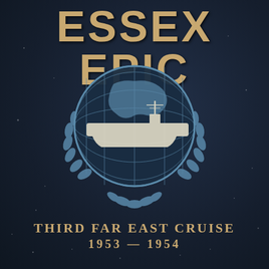ESSEX EPIC
[Figure (illustration): UN-style globe emblem with olive wreath branches framing a globe with latitude/longitude grid lines, and a superimposed silhouette of an aircraft carrier (USS Essex) in white/cream color across the center]
THIRD FAR EAST CRUISE
1953 — 1954